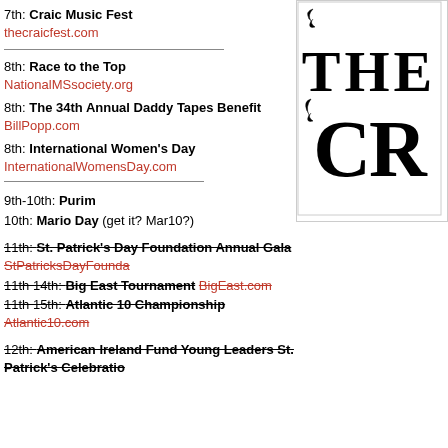7th: Craic Music Fest
thecraicfest.com
8th: Race to the Top
NationalMSsociety.org
8th: The 34th Annual Daddy Tapes Benefit
BillPopp.com
8th: International Women's Day
InternationalWomensDay.com
9th-10th: Purim
10th: Mario Day (get it? Mar10?)
11th: St. Patrick's Day Foundation Annual Gala StPatricksDayFounda...
11th 14th: Big East Tournament BigEast.com
11th 15th: Atlantic 10 Championship Atlantic10.com
12th: American Ireland Fund Young Leaders St. Patrick's Celebration
[Figure (logo): Decorative ornate logo with stylized letters 'THE CR' in black ornamental font]